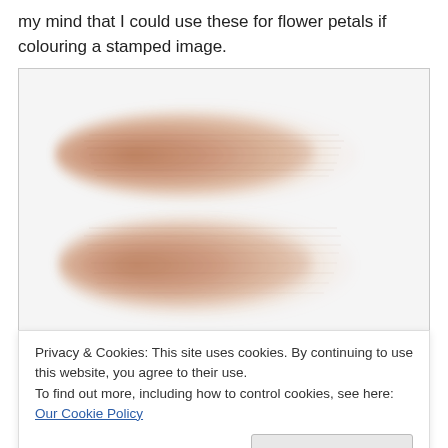my mind that I could use these for flower petals if colouring a stamped image.
[Figure (photo): Two horizontal brush strokes of a warm terracotta/brown watercolour or ink colour on a white background, showing the gradient from dark to light. The top stroke fades from left-center toward the right, the bottom stroke is similarly rendered below a white gap.]
Privacy & Cookies: This site uses cookies. By continuing to use this website, you agree to their use.
To find out more, including how to control cookies, see here: Our Cookie Policy
Close and accept